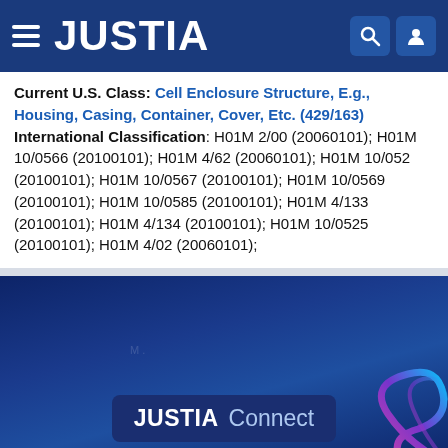JUSTIA
Current U.S. Class: Cell Enclosure Structure, E.g., Housing, Casing, Container, Cover, Etc. (429/163) International Classification: H01M 2/00 (20060101); H01M 10/0566 (20100101); H01M 4/62 (20060101); H01M 10/052 (20100101); H01M 10/0567 (20100101); H01M 10/0569 (20100101); H01M 10/0585 (20100101); H01M 4/133 (20100101); H01M 4/134 (20100101); H01M 10/0525 (20100101); H01M 4/02 (20060101);
[Figure (logo): JUSTIA Connect logo on dark blue background with decorative swirl]